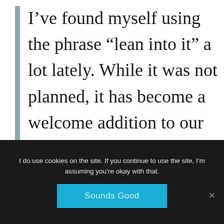I’ve found myself using the phrase “lean into it” a lot lately. While it was not planned, it has become a welcome addition to our conversations.
I do use cookies on the site. If you continue to use the site, I’m assuming you’re okay with that.
Sounds Good